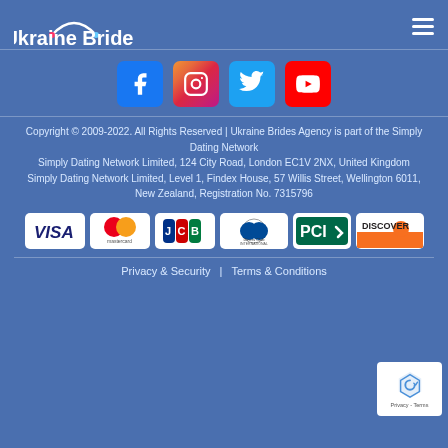Ukraine Brides
[Figure (logo): Ukraine Brides logo with arc above text and colored dots]
[Figure (infographic): Social media icons: Facebook, Instagram, Twitter, YouTube]
Copyright © 2009-2022. All Rights Reserved | Ukraine Brides Agency is part of the Simply Dating Network Simply Dating Network Limited, 124 City Road, London EC1V 2NX, United Kingdom Simply Dating Network Limited, Level 1, Findex House, 57 Willis Street, Wellington 6011, New Zealand, Registration No. 7315796
[Figure (infographic): Payment logos: VISA, Mastercard, JCB, Diners Club International, PCI, Discover]
Privacy & Security  |  Terms & Conditions